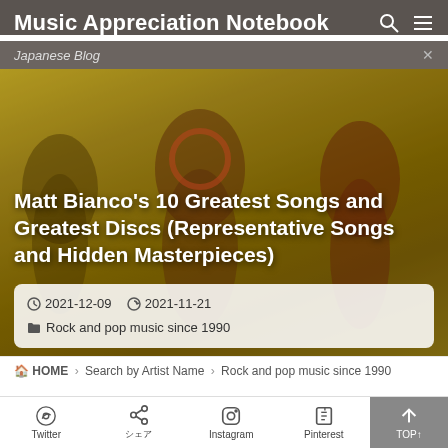Music Appreciation Notebook
Japanese Blog
[Figure (photo): Hero image with yellow-toned silhouettes of people, decorative background for music blog article]
Matt Bianco's 10 Greatest Songs and Greatest Discs (Representative Songs and Hidden Masterpieces)
2021-12-09  2021-11-21  Rock and pop music since 1990
HOME › Search by Artist Name › Rock and pop music since 1990
Twitter  Share  Instagram  Pinterest  TOP↑